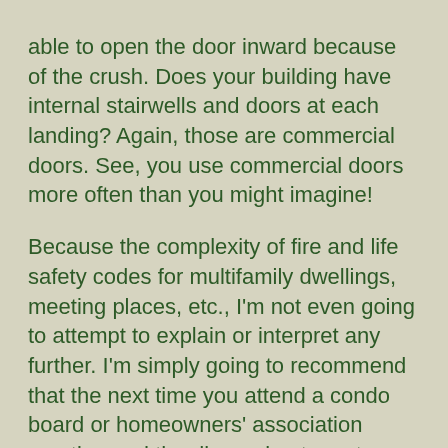able to open the door inward because of the crush. Does your building have internal stairwells and doors at each landing? Again, those are commercial doors. See, you use commercial doors more often than you might imagine!

Because the complexity of fire and life safety codes for multifamily dwellings, meeting places, etc., I'm not even going to attempt to explain or interpret any further. I'm simply going to recommend that the next time you attend a condo board or homeowners' association meeting and the discussion turns to entry doors, ask yourself if these should be commercial entry doors. Then, check with your local code enforcement entity and contact us at (708) 234-1437 or visit our website at https://www.evergreenwindow.com to learn more about commercial entry doors in residential buildings. And, of course, if you are a business owner, contact us for all your